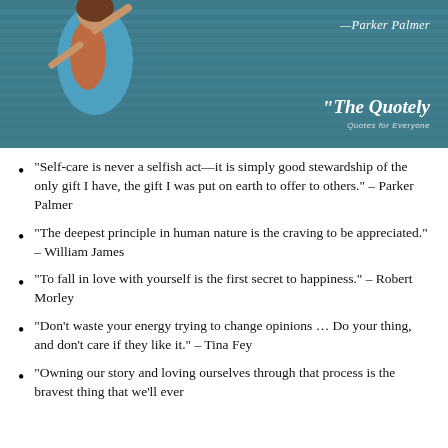[Figure (photo): Banner image showing a woman in a blue and orange outfit against a teal striped background. Top right shows attribution '—Parker Palmer' and bottom right shows 'The Quotely - Quotes for Everyone' logo.]
“Self-care is never a selfish act—it is simply good stewardship of the only gift I have, the gift I was put on earth to offer to others.” – Parker Palmer
“The deepest principle in human nature is the craving to be appreciated.” – William James
“To fall in love with yourself is the first secret to happiness.” – Robert Morley
“Don’t waste your energy trying to change opinions … Do your thing, and don’t care if they like it.” – Tina Fey
“Owning our story and loving ourselves through that process is the bravest thing that we’ll ever